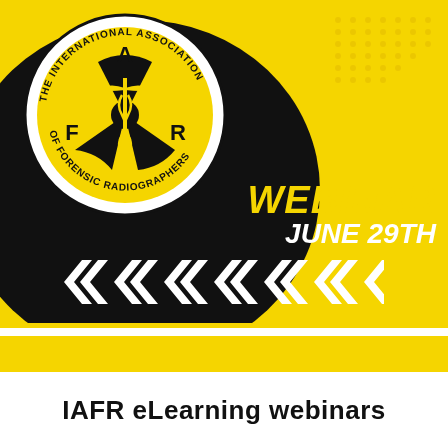[Figure (logo): IAFR logo: circular badge with 'THE INTERNATIONAL ASSOCIATION OF FORENSIC RADIOGRAPHERS' text around the edge, radiation symbol with caduceus in center, letters F, A, R visible, black and white on yellow background]
WEBINAR JUNE 29TH
[Figure (illustration): Row of white chevron/arrow shapes pointing right against black background]
IAFR eLearning webinars